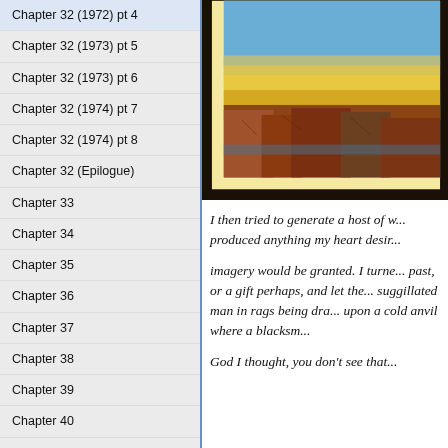Chapter 32 (1972) pt 4
Chapter 32 (1973) pt 5
Chapter 32 (1973) pt 6
Chapter 32 (1974) pt 7
Chapter 32 (1974) pt 8
Chapter 32 (Epilogue)
Chapter 33
Chapter 34
Chapter 35
Chapter 36
Chapter 37
Chapter 38
Chapter 39
Chapter 40
Chapter 41
FAQ's
The Chas Pen Society
[Figure (illustration): Partial view of a framed painting showing a landscape with a yellow sky and rocky terrain, with a dark wooden frame and cream/yellow mat border.]
I then tried to generate a host of w... produced anything my heart desir...
imagery would be granted. I turne... past, or a gift perhaps, and let the... suggillated man in rags being dra... upon a cold anvil where a blacksm...
God I thought, you don't see that...